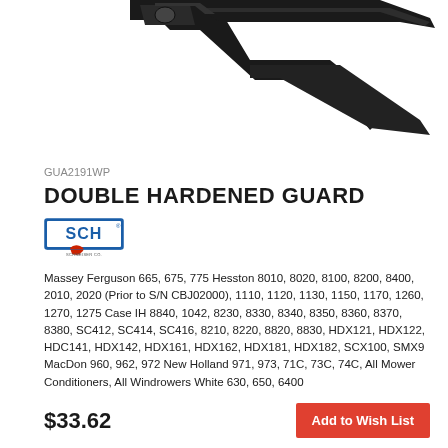[Figure (photo): Product photo of a double hardened guard (agricultural cutting guard), dark/black metal part with two pointed tines, shown on white background, cropped at top]
GUA2191WP
DOUBLE HARDENED GUARD
[Figure (logo): SCH brand logo in blue and red on white background]
Massey Ferguson 665, 675, 775 Hesston 8010, 8020, 8100, 8200, 8400, 2010, 2020 (Prior to S/N CBJ02000), 1110, 1120, 1130, 1150, 1170, 1260, 1270, 1275 Case IH 8840, 1042, 8230, 8330, 8340, 8350, 8360, 8370, 8380, SC412, SC414, SC416, 8210, 8220, 8820, 8830, HDX121, HDX122, HDC141, HDX142, HDX161, HDX162, HDX181, HDX182, SCX100, SMX9 MacDon 960, 962, 972 New Holland 971, 973, 71C, 73C, 74C, All Mower Conditioners, All Windrowers White 630, 650, 6400
$33.62
Add to Wish List